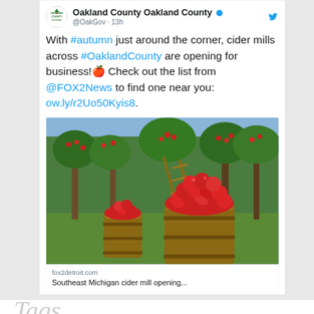[Figure (screenshot): Screenshot of an Oakland County Government Twitter post. The account header shows Oakland County Michigan logo and handle @OakGov · 13h. Tweet text: 'With #autumn just around the corner, cider mills across #OaklandCounty are opening for business! 🍎 Check out the list from @FOX2News to find one near you: ow.ly/r2Uo50Kyis8.' Below the tweet is an embedded image showing two wooden barrels filled with red apples in an orchard with apple trees in the background. A link preview shows fox2detroit.com and text 'Southeast Michigan cider mill opening...']
Tags